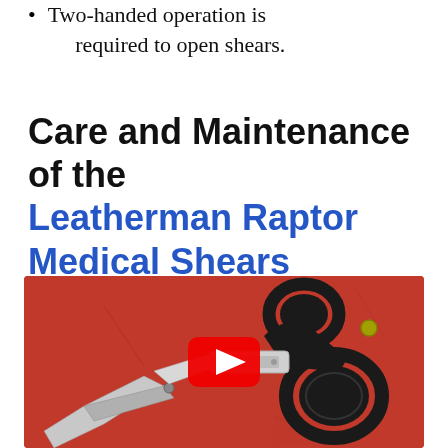Two-handed operation is required to open shears.
Care and Maintenance of the Leatherman Raptor Medical Shears
[Figure (photo): YouTube video thumbnail showing Leatherman Raptor Medical Shears on a red background, with a YouTube play button overlay in the center.]